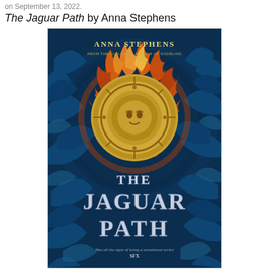on September 13, 2022.
The Jaguar Path by Anna Stephens
[Figure (photo): Book cover of 'The Jaguar Path' by Anna Stephens. Dark blue background with tropical jungle leaves. Central circular Aztec-style golden stone disc surrounded by orange and red flames. Large silver metallic title text 'THE JAGUAR PATH' in the lower half. Author name 'ANNA STEPHENS' at the top in gold/white letters with subtitle 'FROM THE ACCLAIMED AUTHOR OF GODBLIND'. Quote at bottom: 'Has all the signs of being a sensational series' SFX.]